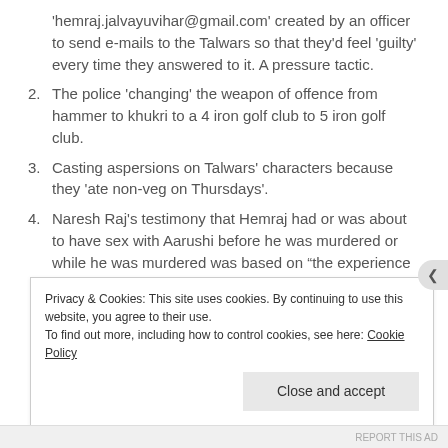'hemraj.jalvayuvihar@gmail.com' created by an officer to send e-mails to the Talwars so that they'd feel 'guilty' every time they answered to it. A pressure tactic.
2. The police 'changing' the weapon of offence from hammer to khukri to a 4 iron golf club to 5 iron golf club.
3. Casting aspersions on Talwars' characters because they 'ate non-veg on Thursdays'.
4. Naresh Raj's testimony that Hemraj had or was about to have sex with Aarushi before he was murdered or while he was murdered was based on “the experience of my marriage”. When the defence pointed out the ridiculousness of this testimony, he replied, “It is incorrect to suggest that my marriage and experiences
Privacy & Cookies: This site uses cookies. By continuing to use this website, you agree to their use.
To find out more, including how to control cookies, see here: Cookie Policy
Close and accept